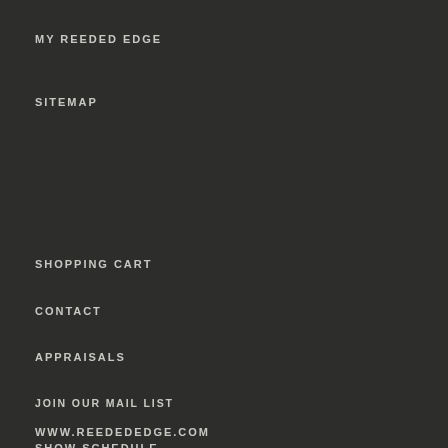MY REEDED EDGE
SITEMAP
SHOPPING CART
CONTACT
APPRAISALS
JOIN OUR MAIL LIST
SHOW SCHEDULE
TERMS OF SALE
WWW.REEDEDEDGE.COM